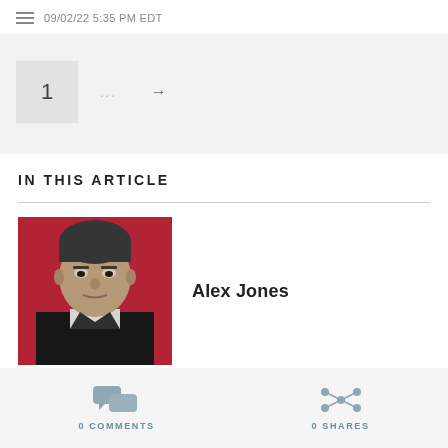09/02/22 5:35 PM EDT
[Figure (other): Pagination element showing page 1 with ellipsis and arrow]
IN THIS ARTICLE
[Figure (photo): Black and white headshot of Alex Jones against red background]
Alex Jones
[Figure (other): Comments icon with count: 0 COMMENTS]
[Figure (other): Share network icon with count: 0 SHARES]